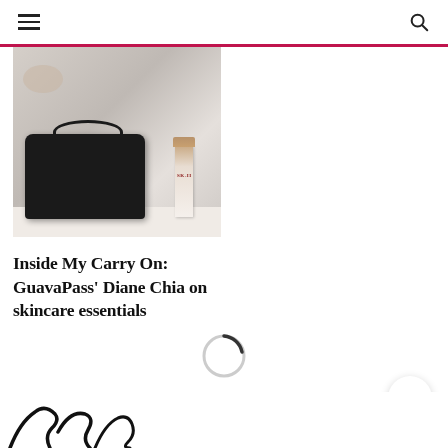Navigation header with hamburger menu and search icon
[Figure (photo): Photo of skincare and cosmetics items including a black makeup bag and SK-II skincare bottle on a white surface]
Inside My Carry On: GuavaPass' Diane Chia on skincare essentials
[Figure (other): Loading spinner circle animation]
[Figure (logo): Partial website logo visible at bottom of page]